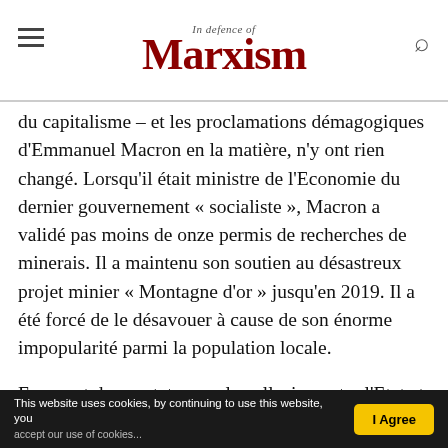In Defence of Marxism
du capitalisme – et les proclamations démagogiques d'Emmanuel Macron en la matière, n'y ont rien changé. Lorsqu'il était ministre de l'Economie du dernier gouvernement « socialiste », Macron a validé pas moins de onze permis de recherches de minerais. Il a maintenu son soutien au désastreux projet minier « Montagne d'or » jusqu'en 2019. Il a été forcé de le désavouer à cause de son énorme impopularité parmi la population locale.

Force est de constater que la collusion entre l'Etat et la classe capitaliste est destructrice pour l'environnement. Le projet « Espérance » doit être
This website uses cookies, by continuing to use this website, you | I Agree